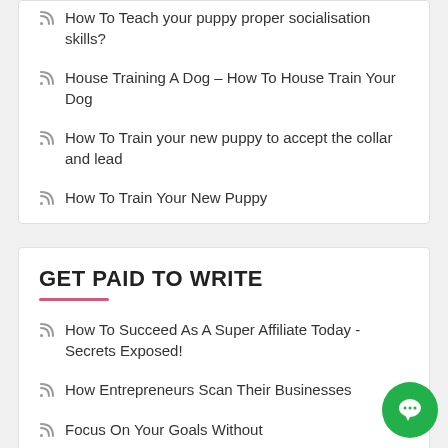How To Teach your puppy proper socialisation skills?
House Training A Dog – How To House Train Your Dog
How To Train your new puppy to accept the collar and lead
How To Train Your New Puppy
GET PAID TO WRITE
How To Succeed As A Super Affiliate Today - Secrets Exposed!
How Entrepreneurs Scan Their Businesses
Focus On Your Goals Without